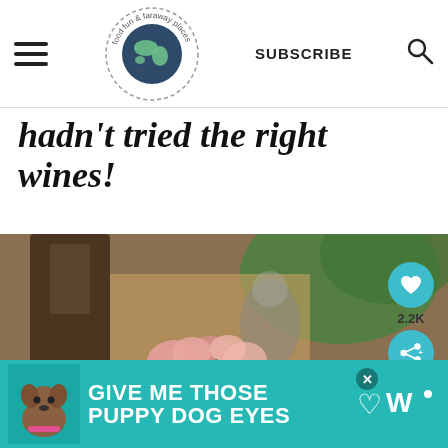food fun & faraway places — SUBSCRIBE
hadn't tried the right wines!
[Figure (photo): Blurred outdoor cafe scene with a glass vase of pink flowers in the foreground, bokeh background with green foliage and warm-toned building]
WHAT'S NEXT → Nördlingen Germany on...
[Figure (infographic): Advertisement banner: GIVE ME THOSE PUPPY DOG EYES with a dog photo on teal background]